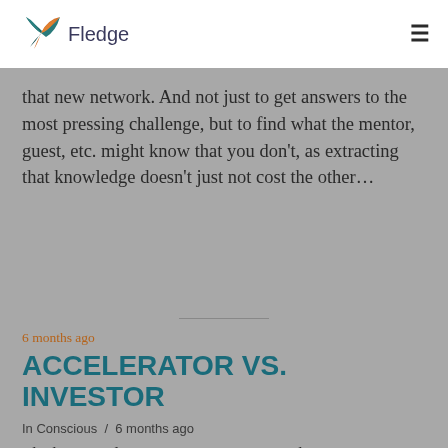Fledge
that new network. And not just to get answers to the most pressing challenge, but to find what the mentor, guest, etc. might know that you don't, as extracting that knowledge doesn't just not cost the other…
6 months ago
ACCELERATOR VS. INVESTOR
In Conscious / 6 months ago
The best accelerator programs invest in their